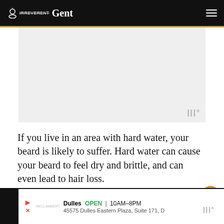Irreverent Gent
[Figure (other): Advertisement placeholder image with light gray background and weather widget watermark]
If you live in an area with hard water, your beard is likely to suffer. Hard water can cause your beard to feel dry and brittle, and can even lead to hair loss.
There are a few things you can do to combat the effects of hard water on your beard.
[Figure (other): Advertisement banner: Dulles OPEN 10AM-8PM, 45575 Dulles Eastern Plaza, Suite 171, D]